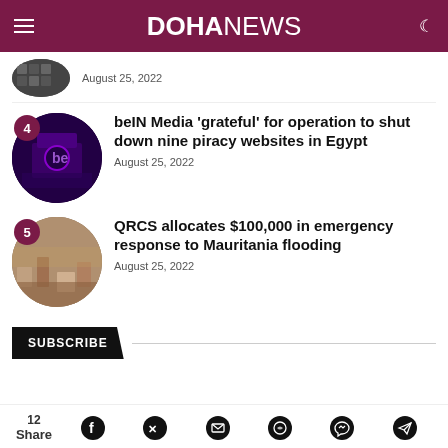DOHANEWS
August 25, 2022
beIN Media 'grateful' for operation to shut down nine piracy websites in Egypt
August 25, 2022
QRCS allocates $100,000 in emergency response to Mauritania flooding
August 25, 2022
SUBSCRIBE
12 Share